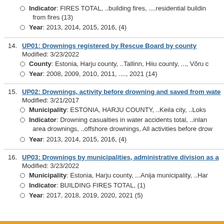Indicator: FIRES TOTAL, ..building fires, ....residential building fires, ..., deaths from fires (13)
Year: 2013, 2014, 2015, 2016, (4)
14. UP01: Drownings registered by Rescue Board by county
Modified: 3/23/2022
County: Estonia, Harju county, ..Tallinn, Hiiu county, ..., Võru c
Year: 2008, 2009, 2010, 2011, ...., 2021 (14)
15. UP02: Drownings, activity before drowning and saved from wate
Modified: 3/21/2017
Municipality: ESTONIA, HARJU COUNTY, ..Keila city, ..Loks
Indicator: Drowning casualties in water accidents total, ..inland area drownings, ..offshore drownings, All activities before drow
Year: 2013, 2014, 2015, 2016, (4)
16. UP03: Drownings by municipalities, administrative division as a
Modified: 3/23/2022
Municipality: Estonia, Harju county, ...Anija municipality, ..Har
Indicator: BUILDING FIRES TOTAL, (1)
Year: 2017, 2018, 2019, 2020, 2021 (5)